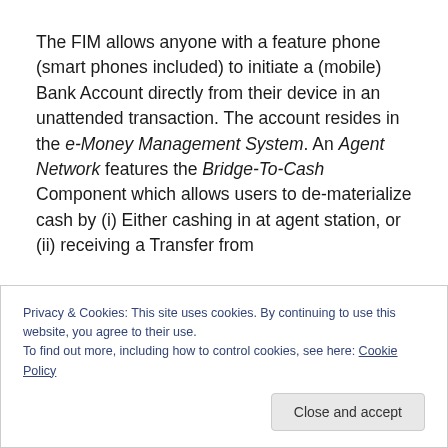The FIM allows anyone with a feature phone (smart phones included) to initiate a (mobile) Bank Account directly from their device in an unattended transaction. The account resides in the e-Money Management System. An Agent Network features the Bridge-To-Cash Component which allows users to de-materialize cash by (i) Either cashing in at agent station, or (ii) receiving a Transfer from
Privacy & Cookies: This site uses cookies. By continuing to use this website, you agree to their use.
To find out more, including how to control cookies, see here: Cookie Policy